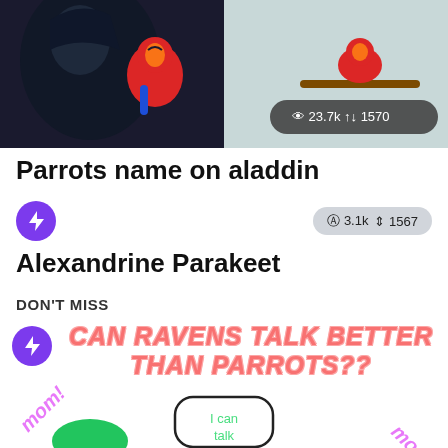[Figure (illustration): Animated cartoon characters from Aladdin - Jafar and Iago the parrot, plus a red parrot on a branch. Stats badge shows 23.7k views and 1570 interactions.]
Parrots name on aladdin
[Figure (illustration): Purple circle icon with lightning bolt symbol and stats badge showing 3.1k views and 1567 interactions]
Alexandrine Parakeet
DON'T MISS
[Figure (illustration): Purple lightning bolt icon with stylized pink/red bold italic text 'CAN RAVENS TALK BETTER THAN PARROTS??' with decorative pink 'mom!' text and a speech bubble saying 'I can talk' with green parrot imagery]